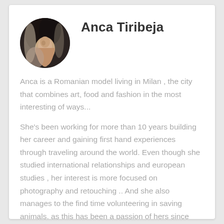[Figure (photo): Circular avatar photo of Anca Tiribeja, a woman with long light hair, dark background with what appears to be a horse]
Anca Tiribeja
Anca is a Romanian model living in Milan , the city that combines art, food and fashion in the most interesting of ways...
She's been working for more than 10 years building her career and gaining first hand experiences through traveling around the world. Even though she studied international relationships and european studies , her interest is more focused on photography and retouching .. And she also manages to the find time volunteering in saving animals, as this has been a passion of hers since she can remember ( more of an obsession than anything